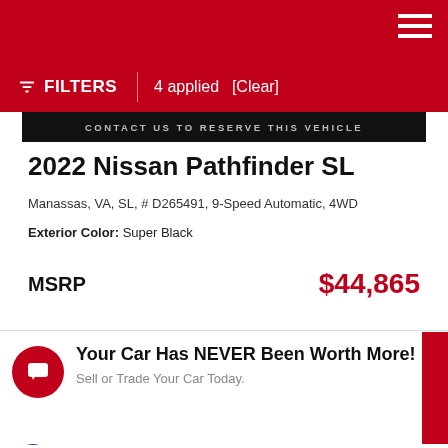FILTERS | 4 applied [Clear]
[Figure (screenshot): Black banner with text CONTACT US TO RESERVE THIS VEHICLE]
2022 Nissan Pathfinder SL
Manassas, VA, SL, # D265491, 9-Speed Automatic, 4WD
Exterior Color: Super Black
MSRP $44,865
Your Car Has NEVER Been Worth More! Sell or Trade Your Car Today.
This site uses cookies. OK